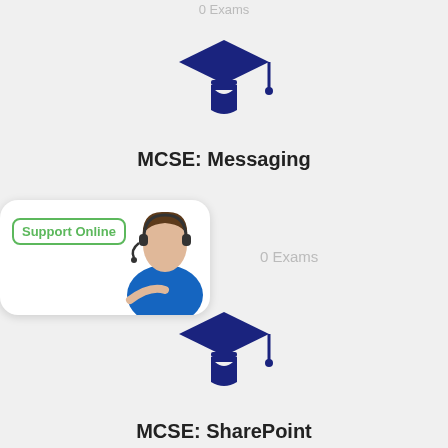0 Exams
[Figure (illustration): Dark navy graduation cap icon]
MCSE: Messaging
[Figure (photo): Support Online widget with woman wearing headset]
0 Exams
[Figure (illustration): Dark navy graduation cap icon]
MCSE: SharePoint